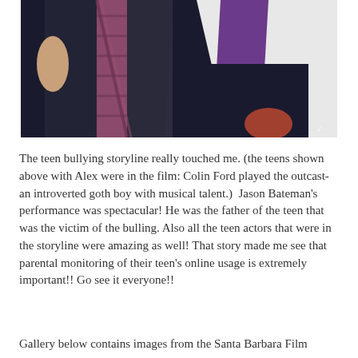[Figure (photo): A cropped photo showing people in formal attire. On the left, a person in a dark suit with a plaid tie. On the right, a person wearing a white jacket and purple shirt.]
The teen bullying storyline really touched me. (the teens shown above with Alex were in the film: Colin Ford played the outcast-an introverted goth boy with musical talent.)  Jason Bateman's performance was spectacular! He was the father of the teen that was the victim of the bulling. Also all the teen actors that were in the storyline were amazing as well! That story made me see that parental monitoring of their teen's online usage is extremely important!! Go see it everyone!!
Gallery below contains images from the Santa Barbara Film